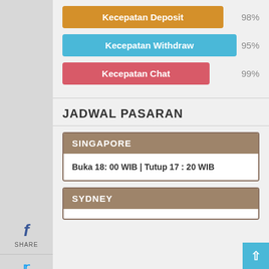f SHARE
TWEET
G+ GPLUS
in SHARE
Kecepatan Deposit 98%
Kecepatan Withdraw 95%
Kecepatan Chat 99%
JADWAL PASARAN
SINGAPORE
Buka 18: 00 WIB | Tutup 17 : 20 WIB
SYDNEY